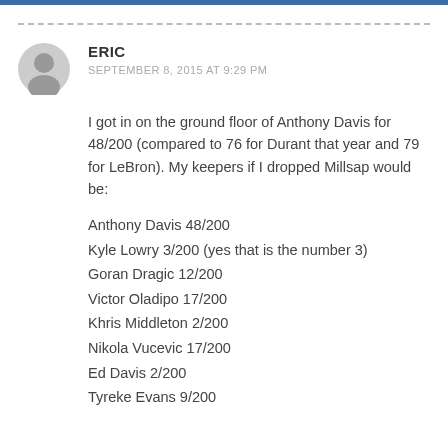ERIC
SEPTEMBER 8, 2015 AT 9:29 PM
I got in on the ground floor of Anthony Davis for 48/200 (compared to 76 for Durant that year and 79 for LeBron). My keepers if I dropped Millsap would be:
Anthony Davis 48/200
Kyle Lowry 3/200 (yes that is the number 3)
Goran Dragic 12/200
Victor Oladipo 17/200
Khris Middleton 2/200
Nikola Vucevic 17/200
Ed Davis 2/200
Tyreke Evans 9/200